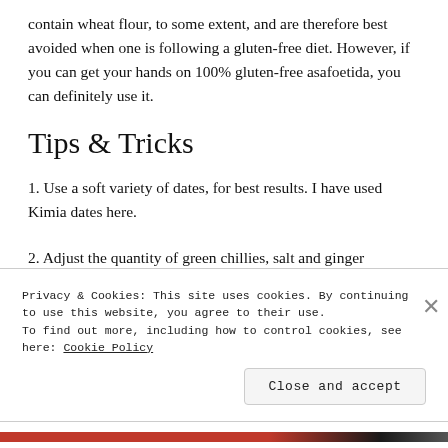contain wheat flour, to some extent, and are therefore best avoided when one is following a gluten-free diet. However, if you can get your hands on 100% gluten-free asafoetida, you can definitely use it.
Tips & Tricks
1. Use a soft variety of dates, for best results. I have used Kimia dates here.
2. Adjust the quantity of green chillies, salt and ginger
Privacy & Cookies: This site uses cookies. By continuing to use this website, you agree to their use.
To find out more, including how to control cookies, see here: Cookie Policy
Close and accept